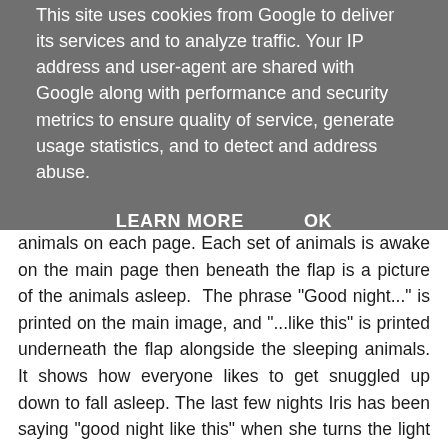This site uses cookies from Google to deliver its services and to analyze traffic. Your IP address and user-agent are shared with Google along with performance and security metrics to ensure quality of service, generate usage statistics, and to detect and address abuse.
LEARN MORE   OK
animals on each page. Each set of animals is awake on the main page then beneath the flap is a picture of the animals asleep. The phrase "Good night..." is printed on the main image, and "...like this" is printed underneath the flap alongside the sleeping animals. It shows how everyone likes to get snuggled up down to fall asleep. The last few nights Iris has been saying "good night like this" when she turns the light off and gets wrapped up in her quilt.
Mummy has been reading ...
[Figure (photo): Photo of an e-reader or tablet device lying on a bed of white pebbles/stones, partially visible at the bottom of the frame]